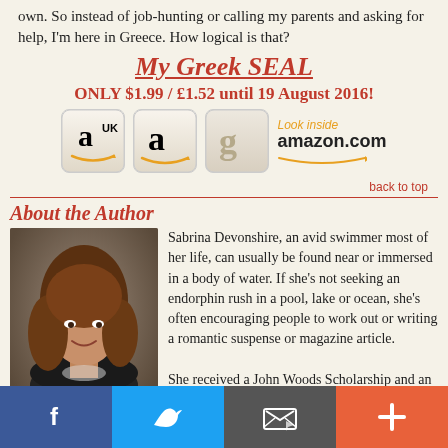own. So instead of job-hunting or calling my parents and asking for help, I'm here in Greece. How logical is that?
My Greek SEAL
ONLY $1.99 / £1.52 until 19 August 2016!
[Figure (logo): Amazon UK button, Amazon US button, Goodreads button, Amazon Look Inside logo]
back to top
About the Author
[Figure (photo): Author photo of Sabrina Devonshire, a woman with long brown wavy hair, smiling, wearing a dark sleeveless top]
Sabrina Devonshire, an avid swimmer most of her life, can usually be found near or immersed in a body of water. If she's not seeking an endorphin rush in a pool, lake or ocean, she's often encouraging people to work out or writing a romantic suspense or magazine article.

She received a John Woods Scholarship and an Arizona
[Figure (infographic): Social media sharing bar with Facebook, Twitter, email/envelope, and plus buttons]